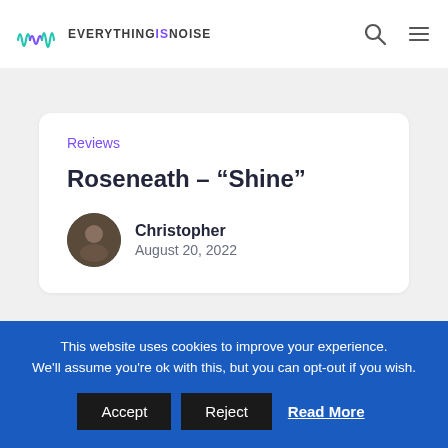EVERYTHING IS NOISE
Reviews
Roseneath – "Shine"
Christopher
August 20, 2022
[Figure (photo): Forest/nature scene with light rays, moody atmospheric image used as article header]
This website uses cookies to improve your experience. We'll assume you're ok with this, but you can opt-out if you wish. Accept Reject Read More